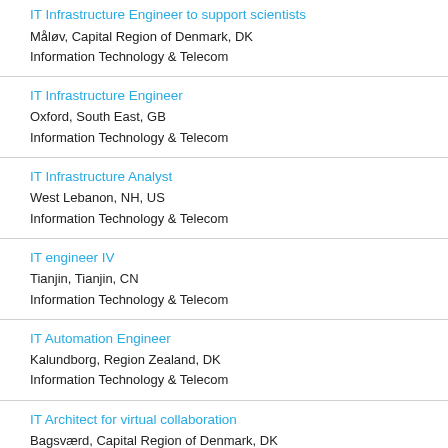IT Infrastructure Engineer to support scientists
Måløv, Capital Region of Denmark, DK
Information Technology & Telecom
IT Infrastructure Engineer
Oxford, South East, GB
Information Technology & Telecom
IT Infrastructure Analyst
West Lebanon, NH, US
Information Technology & Telecom
IT engineer IV
Tianjin, Tianjin, CN
Information Technology & Telecom
IT Automation Engineer
Kalundborg, Region Zealand, DK
Information Technology & Telecom
IT Architect for virtual collaboration
Bagsværd, Capital Region of Denmark, DK
Information Technology & Telecom
IT Analyst - Computer System Associate
West Lebanon, NH, US
Information Technology & Telecom